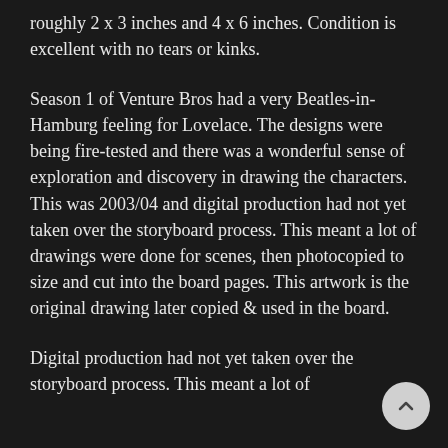roughly 2 x 3 inches and 4 x 6 inches. Condition is excellent with no tears or kinks.
Season 1 of Venture Bros had a very Beatles-in-Hamburg feeling for Lovelace. The designs were being fire-tested and there was a wonderful sense of exploration and discovery in drawing the characters. This was 2003/04 and digital production had not yet taken over the storyboard process. This meant a lot of drawings were done for scenes, then photocopied to size and cut into the board pages. This artwork is the original drawing later copied & used in the board.
Digital production had not yet taken over the storyboard process. This meant a lot of